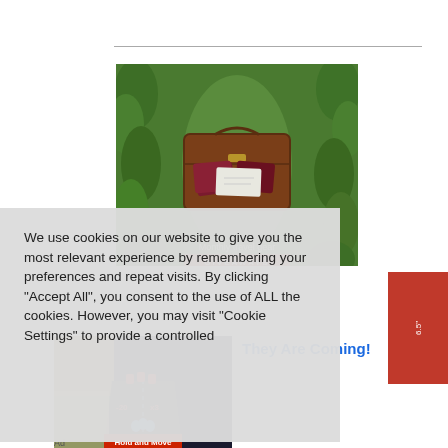[Figure (photo): Photo of an open brown suitcase with passports, documents and travel gear, surrounded by green ivy/vines. Text overlay at bottom reads 'Monthly travel gear']
We use cookies on our website to give you the most relevant experience by remembering your preferences and repeat visits. By clicking "Accept All", you consent to the use of ALL the cookies. However, you may visit "Cookie Settings" to provide a controlled
[Figure (screenshot): Screenshot of a mobile game showing a road with figures and 'Hold and Move' text, with yellow/red UI elements]
They Are Coming!
Ad